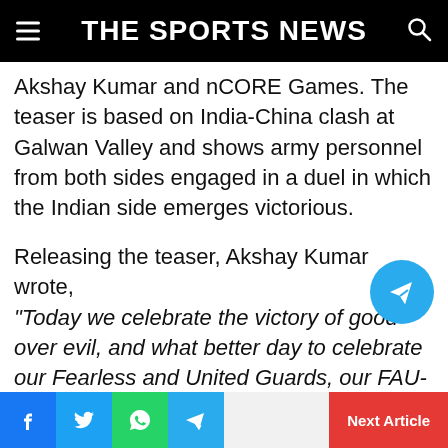THE SPORTS NEWS
Akshay Kumar and nCORE Games. The teaser is based on India-China clash at Galwan Valley and shows army personnel from both sides engaged in a duel in which the Indian side emerges victorious.
Releasing the teaser, Akshay Kumar wrote, “Today we celebrate the victory of good over evil, and what better day to celebrate our Fearless and United Guards, our FAU-G on the auspicious occasion of Dussehra, presenting
Next Article